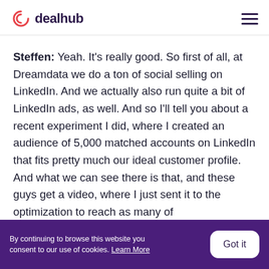dealhub
Steffen: Yeah. It's really good. So first of all, at Dreamdata we do a ton of social selling on LinkedIn. And we actually also run quite a bit of LinkedIn ads, as well. And so I'll tell you about a recent experiment I did, where I created an audience of 5,000 matched accounts on LinkedIn that fits pretty much our ideal customer profile. And what we can see there is that, and these guys get a video, where I just sent it to the optimization to reach as many of
By continuing to browse this website you consent to our use of cookies. Learn More